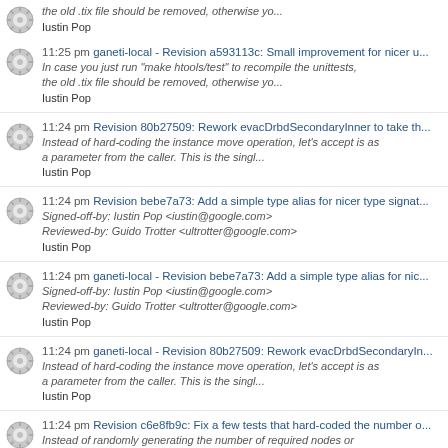the old .tix file should be removed, otherwise yo... Iustin Pop
11:25 pm ganeti-local - Revision a593113c: Small improvement for nicer u... In case you just run "make htools/test" to recompile the unittests, the old .tix file should be removed, otherwise yo... Iustin Pop
11:24 pm Revision 80b27509: Rework evacDrbdSecondaryInner to take th... Instead of hard-coding the instance move operation, let's accept is as a parameter from the caller. This is the singl... Iustin Pop
11:24 pm Revision bebe7a73: Add a simple type alias for nicer type signat... Signed-off-by: Iustin Pop <iustin@google.com> Reviewed-by: Guido Trotter <ultrotter@google.com> Iustin Pop
11:24 pm ganeti-local - Revision bebe7a73: Add a simple type alias for nic... Signed-off-by: Iustin Pop <iustin@google.com> Reviewed-by: Guido Trotter <ultrotter@google.com> Iustin Pop
11:24 pm ganeti-local - Revision 80b27509: Rework evacDrbdSecondaryIn... Instead of hard-coding the instance move operation, let's accept is as a parameter from the caller. This is the singl... Iustin Pop
11:24 pm Revision c6e8fb9c: Fix a few tests that hard-coded the number o... Instead of randomly generating the number of required nodes or hard-coding it, compute it from the disk template of t... Iustin Pop
11:24 pm ganeti-local - Revision c6e8fb9c: Fix a few tests that hard-coded...